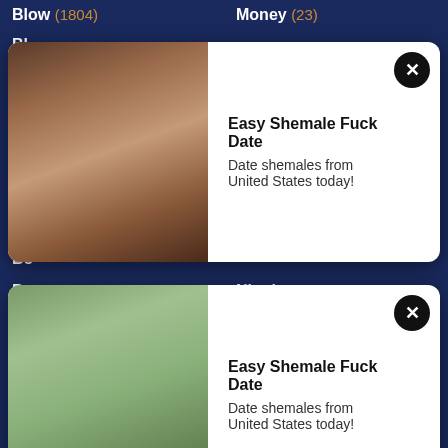Blow (1804) | Money (23)
Bl... | Bl...
Bo... | ...
Bo... | ...
Bo... | ...
Boots (11) | Nasty (18)
Bo... | ...
Bo... | ...
Bo... | ...
Boy (132) | Nipples (125)
Bra (201) | Nude (47)
Brazilian (28) | Nudist (13)
Breasts (12) | Nun (10)
Bride (9) | Nurse (31)
British (133) | Nylon (49)
Brunette (896) | Nympho (5)
Brutal (143) | Office (41)
Bukkake (60) | Oiled (21)
[Figure (photo): Ad popup 1 with woman image and text: Easy Shemale Fuck Date - Date shemales from United States today!]
[Figure (photo): Ad popup 2 with woman image and text: Easy Shemale Fuck Date - Date shemales from United States today!]